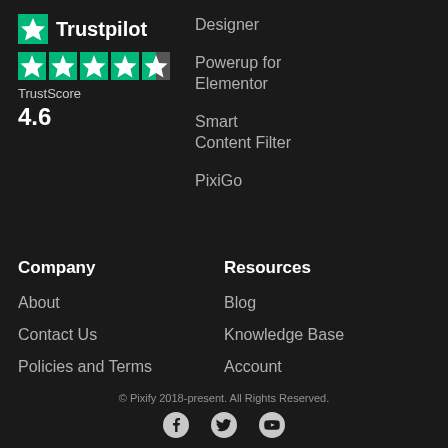[Figure (logo): Trustpilot logo with green star icon and 4.6 rating stars]
Designer
Powerup for Elementor
Smart Content Filter
PixiGo
Company
About
Contact Us
Policies and Terms
Resources
Blog
Knowledge Base
Account
© Pixify 2018-present. All Rights Reserved.